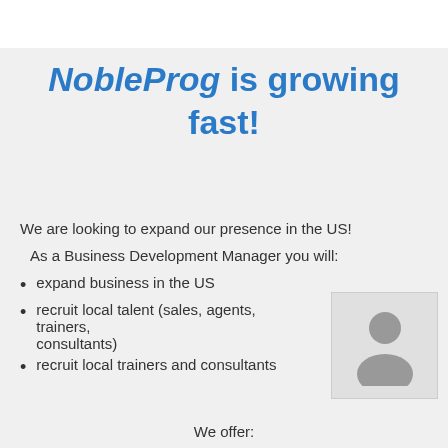NobleProg is growing fast!
We are looking to expand our presence in the US!
As a Business Development Manager you will:
expand business in the US
recruit local talent (sales, agents, trainers, consultants)
recruit local trainers and consultants
[Figure (illustration): Person silhouette / avatar placeholder image]
We offer: